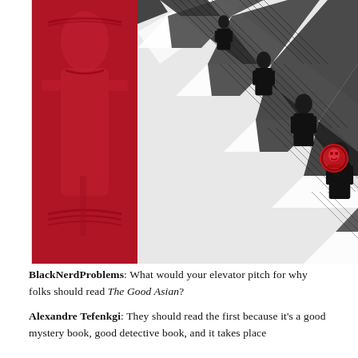[Figure (illustration): Comic book cover art for 'The Good Asian'. Left portion shows a red-toned panel with a figure in traditional garb. Right portion is black-and-white showing diagonal architectural elements like stairs/railings with figures in coats. A small red publisher's logo/seal is visible in the upper right area.]
BlackNerdProblems: What would your elevator pitch for why folks should read The Good Asian?
Alexandre Tefenkgi: They should read the first because it's a good mystery book, good detective book, and it takes place